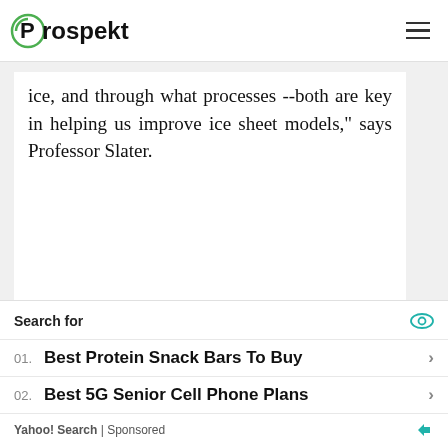Prospekt
ice, and through what processes --both are key in helping us improve ice sheet models," says Professor Slater.
Search for
01. Best Protein Snack Bars To Buy
02. Best 5G Senior Cell Phone Plans
Yahoo! Search | Sponsored